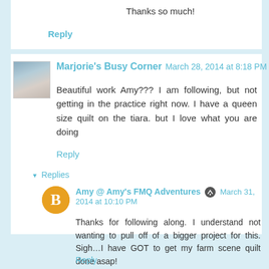Thanks so much!
Reply
Marjorie’s Busy Corner  March 28, 2014 at 8:18 PM
Beautiful work Amy??? I am following, but not getting in the practice right now. I have a queen size quilt on the tiara. but I love what you are doing
Reply
Replies
Amy @ Amy’s FMQ Adventures  March 31, 2014 at 10:10 PM
Thanks for following along. I understand not wanting to pull off of a bigger project for this. Sigh…I have GOT to get my farm scene quilt done asap!
Reply